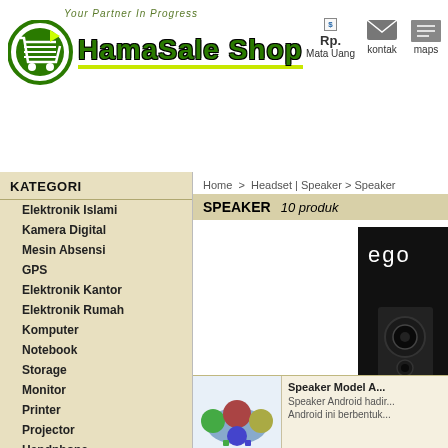[Figure (logo): HamaSale Shop logo with green circle cart icon and green text on yellow underline, tagline 'Your Partner In Progress']
Rp. Mata Uang | kontak | maps
KATEGORI
Elektronik Islami
Kamera Digital
Mesin Absensi
GPS
Elektronik Kantor
Elektronik Rumah
Komputer
Notebook
Storage
Monitor
Printer
Projector
Handphone
Headset | Speaker
HeadSet
Speaker
Home > Headset | Speaker > Speaker
SPEAKER   10 produk
[Figure (photo): Black speaker product image with 'ego' text visible on dark background]
Tersedia Audio Speaker
[Figure (photo): Colorful Android speaker product image]
Speaker Model A... Speaker Android hadir... Android ini berbentuk...